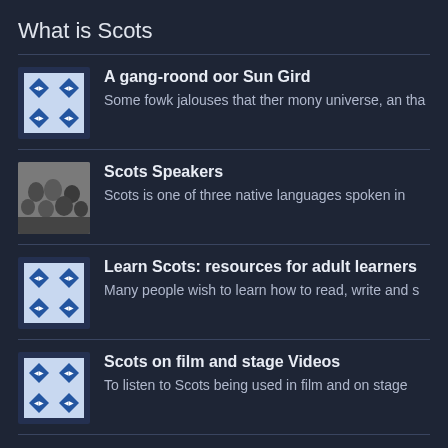What is Scots
A gang-roond oor Sun Gird
Some fowk jalouses that ther mony universe, an tha
Scots Speakers
Scots is one of three native languages spoken in
Learn Scots: resources for adult learners
Many people wish to learn how to read, write and s
Scots on film and stage Videos
To listen to Scots being used in film and on stage